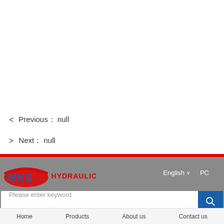Previous： null
Next： null
[Figure (logo): MKS Hydraulic company logo with red swoosh and red HYDRAULIC text]
English ∨   PC
Please enter keyword
No.100, Wufeng Silu, Chancheng District, Foshan City, Guangdong Province, China
Home   Products   About us   Contact us